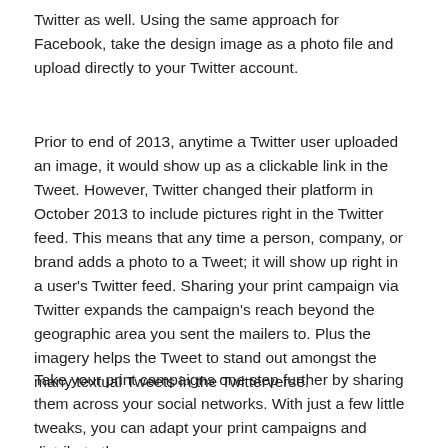Twitter as well. Using the same approach for Facebook, take the design image as a photo file and upload directly to your Twitter account.
Prior to end of 2013, anytime a Twitter user uploaded an image, it would show up as a clickable link in the Tweet. However, Twitter changed their platform in October 2013 to include pictures right in the Twitter feed. This means that any time a person, company, or brand adds a photo to a Tweet; it will show up right in a user's Twitter feed. Sharing your print campaign via Twitter expands the campaign's reach beyond the geographic area you sent the mailers to. Plus the imagery helps the Tweet to stand out amongst the many textual Tweets in the Twitterverse.
Take your print campaigns one step further by sharing them across your social networks. With just a few little tweaks, you can adapt your print campaigns and distribute them